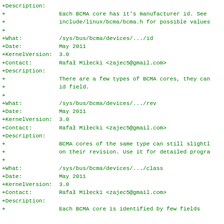+Description:
+                Each BCMA core has it's manufacturer id. See
+                include/linux/bcma/bcma.h for possible values
+
+What:           /sys/bus/bcma/devices/.../id
+Date:           May 2011
+KernelVersion:  3.0
+Contact:        Rafał Miłecki <zajec5@gmail.com>
+Description:
+                There are a few types of BCMA cores, they can
+                id field.
+
+What:           /sys/bus/bcma/devices/.../rev
+Date:           May 2011
+KernelVersion:  3.0
+Contact:        Rafał Miłecki <zajec5@gmail.com>
+Description:
+                BCMA cores of the same type can still slightl
+                on their revision. Use it for detailed progra
+
+What:           /sys/bus/bcma/devices/.../class
+Date:           May 2011
+KernelVersion:  3.0
+Contact:        Rafał Miłecki <zajec5@gmail.com>
+Description:
+                Each BCMA core is identified by few fields